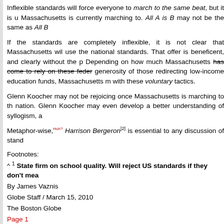Inflexible standards will force everyone to march to the same beat, but it is u Massachusetts is currently marching to. All A is B may not be the same as All B
If the standards are completely inflexible, it is not clear that Massachusetts wil use the national standards. That offer is beneficent, and clearly without the p Depending on how much Massachusetts has come to rely on these feder generosity of those redirecting low-income education funds, Massachusetts m with these voluntary tactics.
Glenn Koocher may not be rejoicing once Massachusetts is marching to th nation. Glenn Koocher may even develop a better understanding of syllogism, a
Metaphor-wise,Huh? Harrison Bergeron[2] is essential to any discussion of stand
Footnotes:
^ 1 State firm on school quality. Will reject US standards if they don't mea
By James Vaznis
Globe Staff / March 15, 2010
The Boston Globe
Page 1
Page 2
^ 2 Harrison Bergeron
Wikipedia